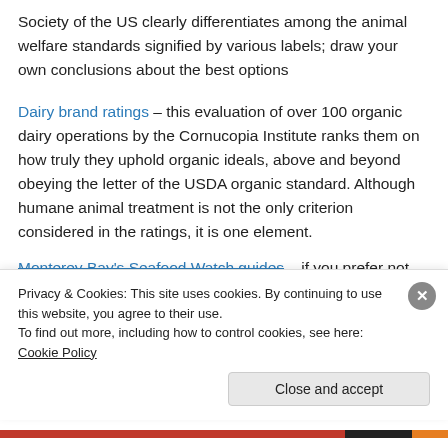Society of the US clearly differentiates among the animal welfare standards signified by various labels; draw your own conclusions about the best options
Dairy brand ratings – this evaluation of over 100 organic dairy operations by the Cornucopia Institute ranks them on how truly they uphold organic ideals, above and beyond obeying the letter of the USDA organic standard. Although humane animal treatment is not the only criterion considered in the ratings, it is one element.
Monterey Bay's Seafood Watch guides – if you prefer not
Privacy & Cookies: This site uses cookies. By continuing to use this website, you agree to their use.
To find out more, including how to control cookies, see here: Cookie Policy
Close and accept